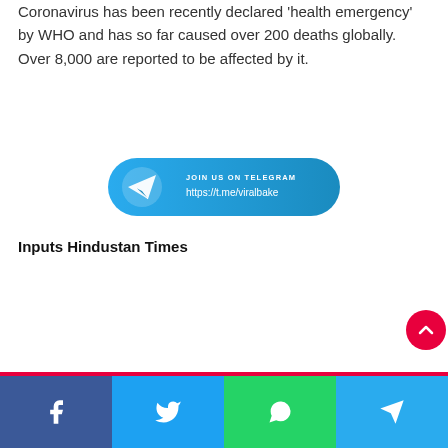Coronavirus has been recently declared 'health emergency' by WHO and has so far caused over 200 deaths globally. Over 8,000 are reported to be affected by it.
[Figure (infographic): Telegram channel promotional banner button with Telegram paper plane logo on left, text 'JOIN US ON TELEGRAM' and 'https://t.me/viralbake' on right, blue rounded rectangle background]
Inputs Hindustan Times
Social share buttons: Facebook, Twitter, WhatsApp, Telegram